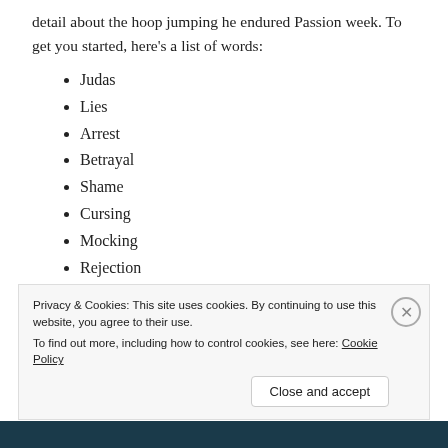detail about the hoop jumping he endured Passion week. To get you started, here's a list of words:
Judas
Lies
Arrest
Betrayal
Shame
Cursing
Mocking
Rejection
Thrones
Privacy & Cookies: This site uses cookies. By continuing to use this website, you agree to their use. To find out more, including how to control cookies, see here: Cookie Policy